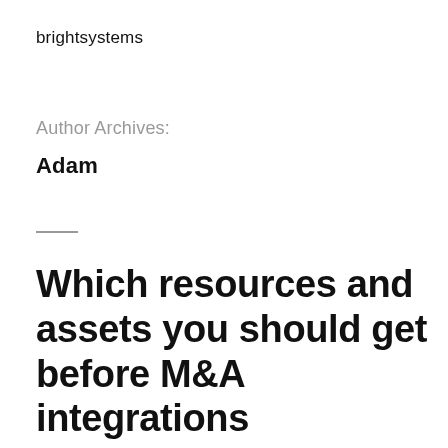brightsystems
Author Archives:
Adam
Which resources and assets you should get before M&A integrations